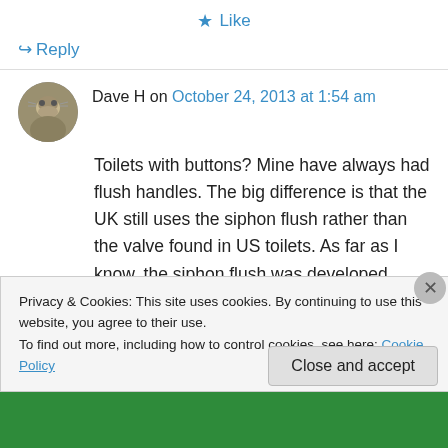★ Like
↪ Reply
Dave H on October 24, 2013 at 1:54 am
Toilets with buttons? Mine have always had flush handles. The big difference is that the UK still uses the siphon flush rather than the valve found in US toilets. As far as I know, the siphon flush was developed because materials at the time made it near-impossible to get a good seal on a
Privacy & Cookies: This site uses cookies. By continuing to use this website, you agree to their use.
To find out more, including how to control cookies, see here: Cookie Policy
Close and accept